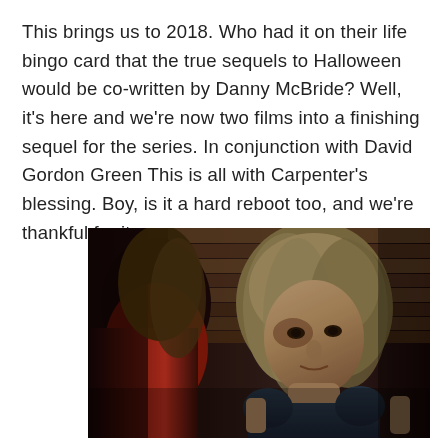This brings us to 2018. Who had it on their life bingo card that the true sequels to Halloween would be co-written by Danny McBride? Well, it's here and we're now two films into a finishing sequel for the series. In conjunction with David Gordon Green This is all with Carpenter's blessing. Boy, is it a hard reboot too, and we're thankful for it.
[Figure (photo): A dark cinematic still from a Halloween movie showing two women in a tense scene. On the left, a younger woman with long blonde/brown hair wearing a red top is partially visible from behind. On the right, an older woman with wavy blonde/grey hair wearing a dark sleeveless top looks forward with a bruised face and intense expression. The background shows dark wooden planks.]